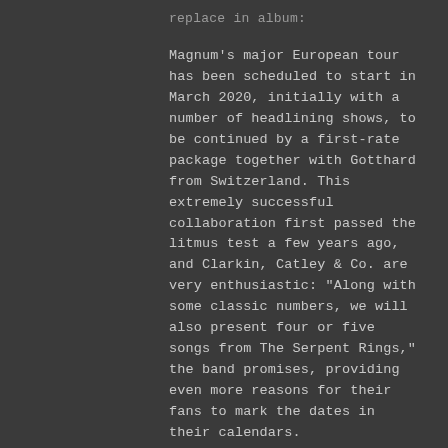replace in album:
Magnum's major European tour has been scheduled to start in March 2020, initially with a number of headlining shows, to be continued by a first-rate package together with Gotthard from Switzerland. This extremely successful collaboration first passed the litmus test a few years ago, and Clarkin, Catley & Co. are very enthusiastic: "Along with some classic numbers, we will also present four or five songs from The Serpent Rings," the band promises, providing even more reasons for their fans to mark the dates in their calendars.
Today sees the arrival of the first album teaser for the new album.